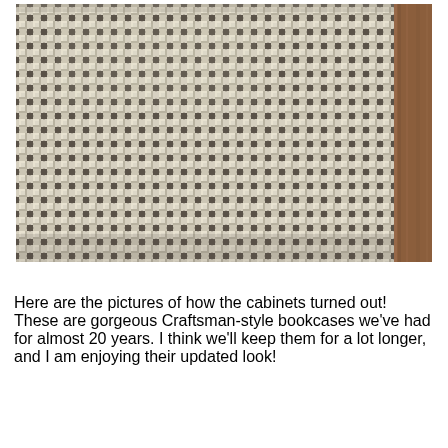[Figure (photo): Close-up photograph of woven cane webbing on a cabinet door, with a wooden frame visible on the right side. The cane has a woven basket-weave pattern in off-white/cream tones with dark squares visible through the open weave.]
Here are the pictures of how the cabinets turned out! These are gorgeous Craftsman-style bookcases we've had for almost 20 years. I think we'll keep them for a lot longer, and I am enjoying their updated look!